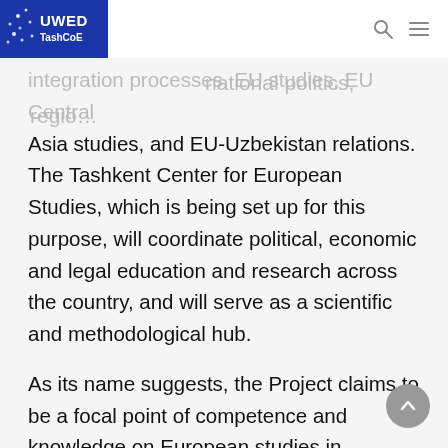UWED TashCoE
education and research in Uzbekistan in the … national politics, regional… integration processes, EU studies, EU Central Asia studies, and EU-Uzbekistan relations. The Tashkent Center for European Studies, which is being set up for this purpose, will coordinate political, economic and legal education and research across the country, and will serve as a scientific and methodological hub.
As its name suggests, the Project claims to be a focal point of competence and knowledge on European studies in Uzbekistan and centers around the answer to